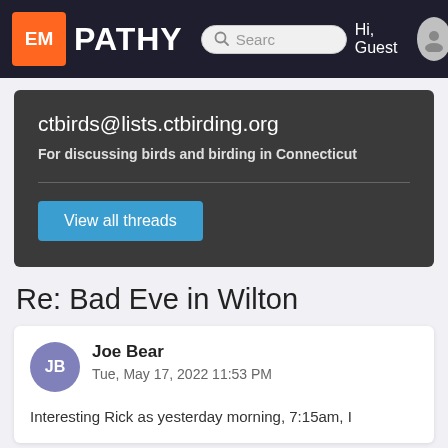EMPATHY  Search  Hi, Guest
ctbirds@lists.ctbirding.org
For discussing birds and birding in Connecticut
View all threads
Re: Bad Eve in Wilton
Joe Bear
Tue, May 17, 2022 11:53 PM
Interesting Rick as yesterday morning, 7:15am, I